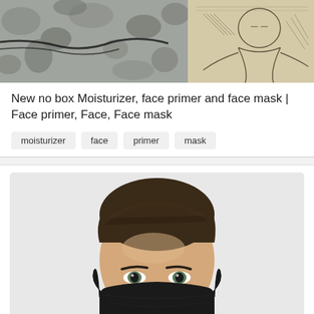[Figure (photo): Top portion showing two images side by side: left is a camouflage/gray pattern fabric, right is a sketch/illustration of a figure]
New no box Moisturizer, face primer and face mask | Face primer, Face, Face mask
moisturizer
face
primer
mask
[Figure (photo): Photo of a young man with brown hair wearing a black face mask, upper body/head visible against light gray background]